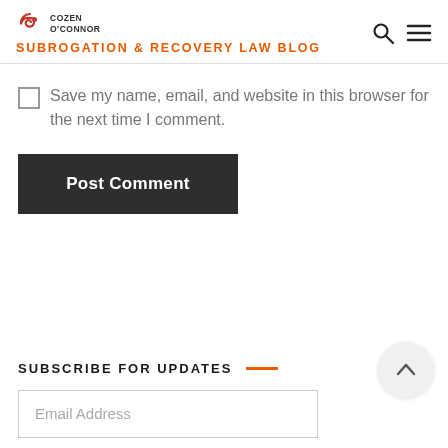COZEN O'CONNOR SUBROGATION & RECOVERY LAW BLOG
Save my name, email, and website in this browser for the next time I comment.
Post Comment
SUBSCRIBE FOR UPDATES
Email Address